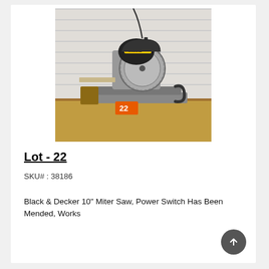[Figure (photo): Black & Decker 10 inch miter saw on a wooden workbench. The saw has a circular blade, black motor housing with yellow Profesional branding, and appears to have some accessories beside it. An orange tag with the number 22 is visible on the workbench.]
Lot - 22
SKU# : 38186
Black & Decker 10" Miter Saw, Power Switch Has Been Mended, Works